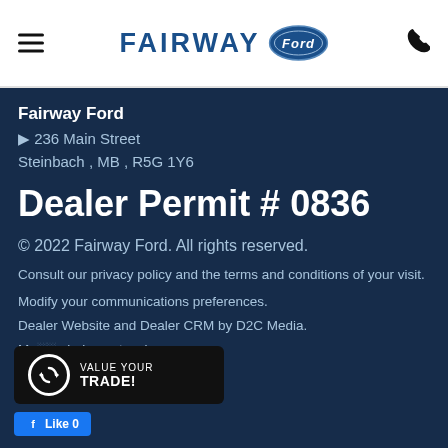[Figure (logo): Fairway Ford logo with Ford oval badge in header bar]
Fairway Ford
📍 236 Main Street
Steinbach , MB , R5G 1Y6
Dealer Permit # 0836
© 2022 Fairway Ford. All rights reserved.
Consult our privacy policy and the terms and conditions of your visit.
Modify your communications preferences.
Dealer Website and Dealer CRM by D2C Media.
Me[…]ubaine network.
[Figure (other): VALUE YOUR TRADE! widget popup overlay]
[Figure (other): Facebook Like button]